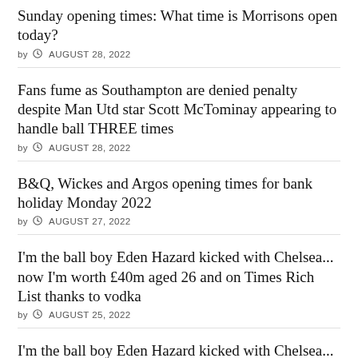Sunday opening times: What time is Morrisons open today?
by   AUGUST 28, 2022
Fans fume as Southampton are denied penalty despite Man Utd star Scott McTominay appearing to handle ball THREE times
by   AUGUST 28, 2022
B&Q, Wickes and Argos opening times for bank holiday Monday 2022
by   AUGUST 27, 2022
I'm the ball boy Eden Hazard kicked with Chelsea... now I'm worth £40m aged 26 and on Times Rich List thanks to vodka
by   AUGUST 25, 2022
I'm the ball boy Eden Hazard kicked with Chelsea... now I am worth £40m aged 26 on Times Rich List thanks to vodka
by   AUGUST 24, 2022